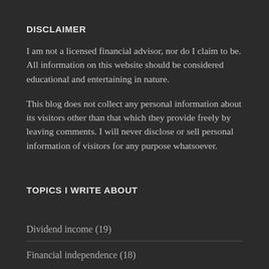DISCLAIMER
I am not a licensed financial advisor, nor do I claim to be. All information on this website should be considered educational and entertaining in nature.
This blog does not collect any personal information about its visitors other than that which they provide freely by leaving comments. I will never disclose or sell personal information of visitors for any purpose whatsoever.
TOPICS I WRITE ABOUT
Dividend income (19)
Financial independence (18)